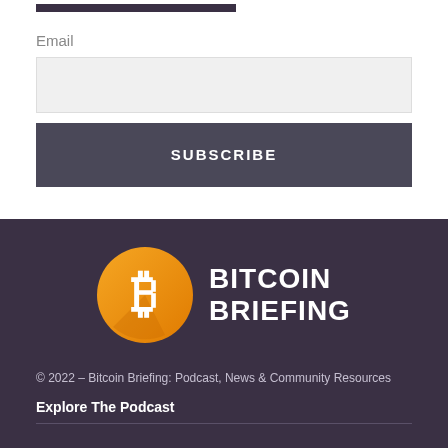Email
[Figure (logo): Bitcoin Briefing logo: orange circle with white Bitcoin 'B' symbol on left, white bold text 'BITCOIN BRIEFING' on right, on dark purple background]
© 2022 – Bitcoin Briefing: Podcast, News & Community Resources
Explore The Podcast